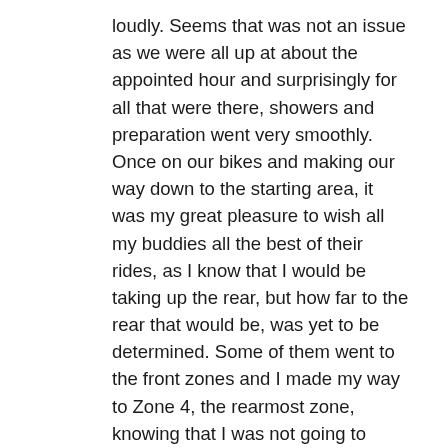loudly. Seems that was not an issue as we were all up at about the appointed hour and surprisingly for all that were there, showers and preparation went very smoothly. Once on our bikes and making our way down to the starting area, it was my great pleasure to wish all my buddies all the best of their rides, as I know that I would be taking up the rear, but how far to the rear that would be, was yet to be determined. Some of them went to the front zones and I made my way to Zone 4, the rearmost zone, knowing that I was not going to break any speed records down hill at the start and wanting to be safely to the bottom and able to get on with the next 200 kms in one piece. I will not bore you with my particular ride details, suffice to say that just as Matt and so many of those that rode had their demons and thrills doing the 2013 – 3